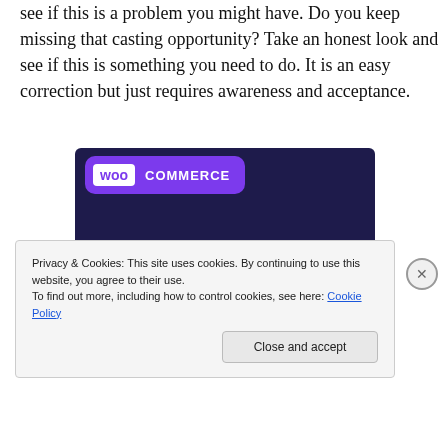see if this is a problem you might have. Do you keep missing that casting opportunity? Take an honest look and see if this is something you need to do. It is an easy correction but just requires awareness and acceptance.
[Figure (illustration): WooCommerce advertisement banner with dark navy background, purple speech bubble logo, teal triangle shape, cyan circle, and white text reading 'Turn your hobby into a business in 8 steps']
Privacy & Cookies: This site uses cookies. By continuing to use this website, you agree to their use.
To find out more, including how to control cookies, see here: Cookie Policy
Close and accept